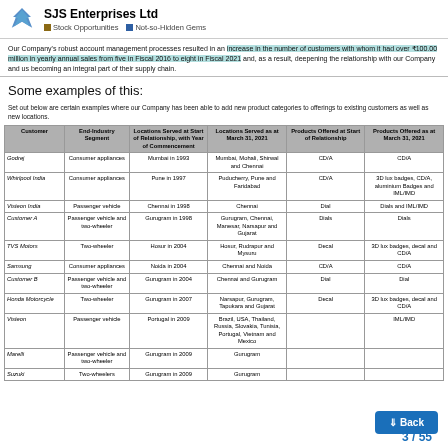SJS Enterprises Ltd | Stock Opportunities | Not-so-Hidden Gems
Our Company's robust account management processes resulted in an increase in the number of customers with whom it had over ₹100.00 million in yearly annual sales from five in Fiscal 2016 to eight in Fiscal 2021 and, as a result, deepening the relationship with our Company and us becoming an integral part of their supply chain.
Some examples of this:
Set out below are certain examples where our Company has been able to add new product categories to offerings to existing customers as well as new locations.
| Customer | End-Industry Segment | Locations Served at Start of Relationship, with Year of Commencement | Locations Served as at March 31, 2021 | Products Offered at Start of Relationship | Products Offered as at March 31, 2021 |
| --- | --- | --- | --- | --- | --- |
| Godrej | Consumer appliances | Mumbai in 1993 | Mumbai, Mohali, Shirwal and Chennai | CD/A | CD/A |
| Whirlpool India | Consumer appliances | Pune in 1997 | Puducherry, Pune and Faridabad | CD/A | 3D lux badges, CD/A, aluminium Badges and IML/IMD |
| Visteon India | Passenger vehicle | Chennai in 1998 | Chennai | Dial | Dials and IML/IMD |
| Customer A | Passenger vehicle and two-wheeler | Gurugram in 1998 | Gurugram, Chennai, Manesar, Narsapur and Gujarat | Dials | Dials |
| TVS Motors | Two-wheeler | Hosur in 2004 | Hosur, Rudrapur and Mysuru | Decal | 3D lux badges, decal and CD/A |
| Samsung | Consumer appliances | Noida in 2004 | Chennai and Noida | CD/A | CD/A |
| Customer B | Passenger vehicle and two-wheeler | Gurugram in 2004 | Chennai and Gurugram | Dial | Dial |
| Honda Motorcycle | Two-wheeler | Gurugram in 2007 | Narsapur, Gurugram, Tapukara and Gujarat | Decal | 3D lux badges, decal and CD/A |
| Visteon | Passenger vehicle | Portugal in 2009 | Brazil, USA, Thailand, Russia, Slovakia, Tunisia, Portugal, Vietnam and Mexico |  | IML/IMD |
| Marelli | Passenger vehicle and two-wheeler | Gurugram in 2009 | Gurugram |  |  |
| Suzuki | Two-wheelers | Gurugram in 2009 | Gurugram |  |  |